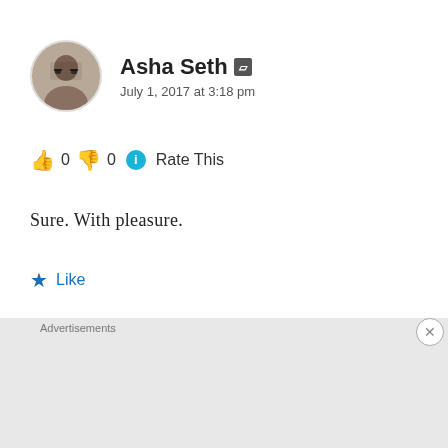Asha Seth — July 1, 2017 at 3:18 pm
👍 0 👎 0 ℹ Rate This
Sure. With pleasure.
★ Like
Advertisements
[Figure (other): DuckDuckGo advertisement banner: 'Search, browse, and email with more privacy. All in One Free App' with phone image and DuckDuckGo logo]